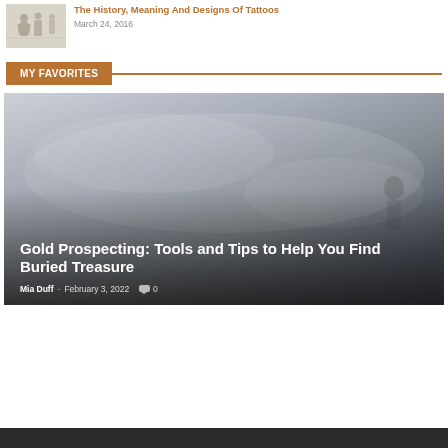[Figure (illustration): Small thumbnail image showing faint silhouette figures, muted gray-beige tones]
The History, Meaning And Designs Of Tattoos
March 24, 2016
MY FAVORITES
[Figure (photo): Large featured image with misty gray foggy outdoor scene, person silhouette faintly visible, dark gradient overlay at bottom]
Gold Prospecting: Tools and Tips to Help You Find Buried Treasure
Mia Duff  -  February 3, 2022  0